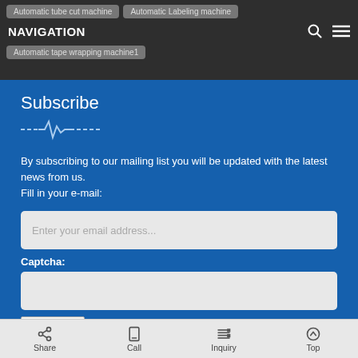NAVIGATION | Automatic tube cut machine | Automatic Labeling machine | Automatic tape wrapping machine1
Subscribe
[Figure (illustration): Decorative pulse/heartbeat line divider]
By subscribing to our mailing list you will be updated with the latest news from us.
Fill in your e-mail:
Enter your email address...
Captcha:
[Figure (other): CAPTCHA image showing distorted text: 3921]
Send
Share | Call | Inquiry | Top